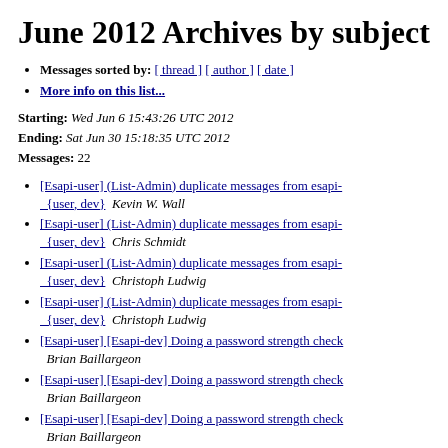June 2012 Archives by subject
Messages sorted by: [ thread ] [ author ] [ date ]
More info on this list...
Starting: Wed Jun 6 15:43:26 UTC 2012
Ending: Sat Jun 30 15:18:35 UTC 2012
Messages: 22
[Esapi-user] (List-Admin) duplicate messages from esapi-{user, dev}  Kevin W. Wall
[Esapi-user] (List-Admin) duplicate messages from esapi-{user, dev}  Chris Schmidt
[Esapi-user] (List-Admin) duplicate messages from esapi-{user, dev}  Christoph Ludwig
[Esapi-user] (List-Admin) duplicate messages from esapi-{user, dev}  Christoph Ludwig
[Esapi-user] [Esapi-dev] Doing a password strength check  Brian Baillargeon
[Esapi-user] [Esapi-dev] Doing a password strength check  Brian Baillargeon
[Esapi-user] [Esapi-dev] Doing a password strength check  Brian Baillargeon
[Esapi-user] Hey wassup  Prashmit Tangu